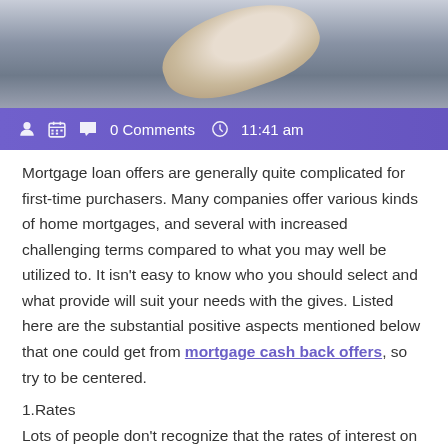[Figure (photo): Close-up photo of a hand, partially visible against a gray/blue background]
0 Comments   11:41 am
Mortgage loan offers are generally quite complicated for first-time purchasers. Many companies offer various kinds of home mortgages, and several with increased challenging terms compared to what you may well be utilized to. It isn't easy to know who you should select and what provide will suit your needs with the gives. Listed here are the substantial positive aspects mentioned below that one could get from mortgage cash back offers, so try to be centered.
1.Rates
Lots of people don't recognize that the rates of interest on on the web home lending options are often lower than